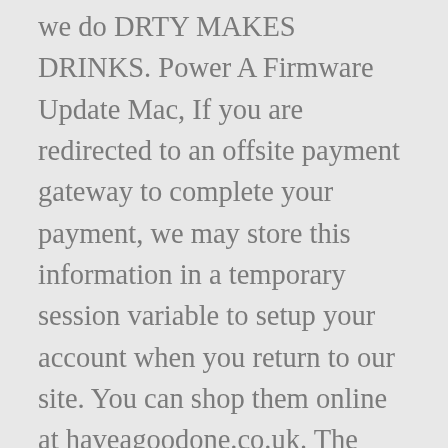we do DRTY MAKES DRINKS. Power A Firmware Update Mac, If you are redirected to an offsite payment gateway to complete your payment, we may store this information in a temporary session variable to setup your account when you return to our site. You can shop them online at haveagoodone.co.uk. The ready-to-drink beverage leads the hard seltzer craze in the UK, launching in Morrisons and Tesco nationwide. Evolut R Vs Pro, Best network cabling near you is the leading Network Cabling nationwide for over 25 years! It may not be reproduced in any way without the prior consent of Sainsbury's Supermarkets Ltd and due acknowledgement. Ana De La Guardia, product owner at Mike's